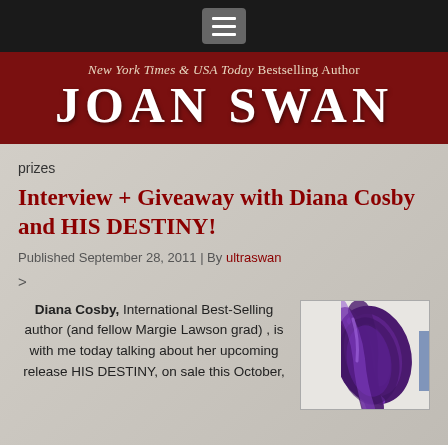[Figure (screenshot): Hamburger menu button in dark top navigation bar]
New York Times & USA Today Bestselling Author JOAN SWAN
prizes
Interview + Giveaway with Diana Cosby and HIS DESTINY!
Published September 28, 2011 | By ultraswan
>
Diana Cosby, International Best-Selling author (and fellow Margie Lawson grad) , is with me today talking about her upcoming release HIS DESTINY, on sale this October,
[Figure (photo): Purple satin ribbon tied in a bow or rolled, on white background]